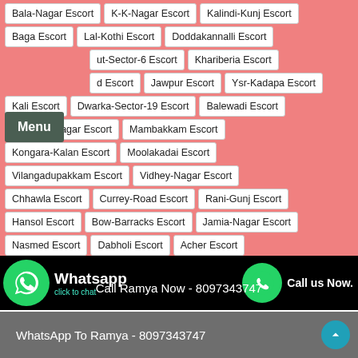Bala-Nagar Escort
K-K-Nagar Escort
Kalindi-Kunj Escort
Baga Escort
Lal-Kothi Escort
Doddakannalli Escort
ut-Sector-6 Escort
Khariberia Escort
d Escort
Jawpur Escort
Ysr-Kadapa Escort
Kali Escort
Dwarka-Sector-19 Escort
Balewadi Escort
Meghani-Nagar Escort
Mambakkam Escort
Kongara-Kalan Escort
Moolakadai Escort
Vilangadupakkam Escort
Vidhey-Nagar Escort
Chhawla Escort
Currey-Road Escort
Rani-Gunj Escort
Hansol Escort
Bow-Barracks Escort
Jamia-Nagar Escort
Nasmed Escort
Dabholi Escort
Acher Escort
Kamshet Escort
Neb-Sarai Escort
Valepura Escort
Whatsapp click to chat
Call us Now.
Call Ramya Now - 8097343747
WhatsApp To Ramya - 8097343747